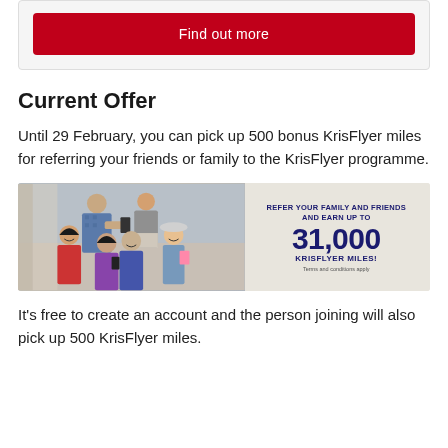[Figure (other): Red 'Find out more' button inside a light grey card]
Current Offer
Until 29 February, you can pick up 500 bonus KrisFlyer miles for referring your friends or family to the KrisFlyer programme.
[Figure (infographic): Promotional banner showing a group of young people looking at phones with text: REFER YOUR FAMILY AND FRIENDS AND EARN UP TO 31,000 KRISFLYER MILES! Terms and conditions apply.]
It's free to create an account and the person joining will also pick up 500 KrisFlyer miles.